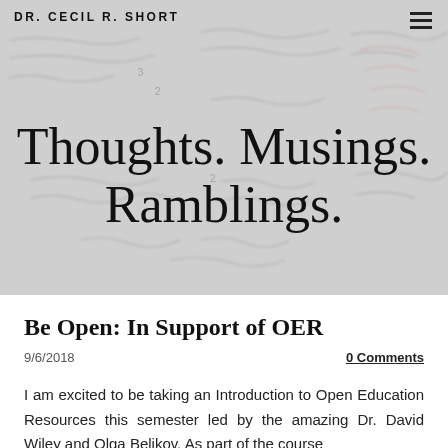DR. CECIL R. SHORT
[Figure (photo): Background image of handwritten notes on paper, blurred, with text 'Thoughts. Musings. Ramblings.' overlaid in large serif font.]
Thoughts. Musings. Ramblings.
Be Open: In Support of OER
9/6/2018
0 Comments
I am excited to be taking an Introduction to Open Education Resources this semester led by the amazing Dr. David Wiley and Olga Belikov. As part of the course